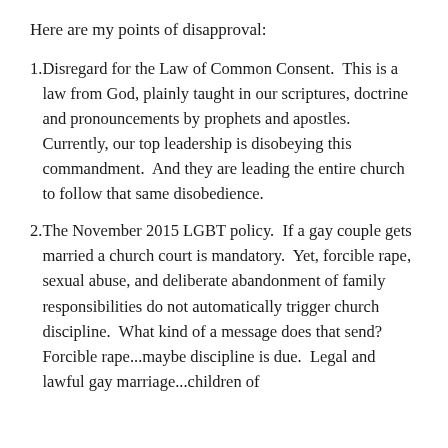Here are my points of disapproval:
Disregard for the Law of Common Consent. This is a law from God, plainly taught in our scriptures, doctrine and pronouncements by prophets and apostles. Currently, our top leadership is disobeying this commandment. And they are leading the entire church to follow that same disobedience.
The November 2015 LGBT policy. If a gay couple gets married a church court is mandatory. Yet, forcible rape, sexual abuse, and deliberate abandonment of family responsibilities do not automatically trigger church discipline. What kind of a message does that send? Forcible rape...maybe discipline is due. Legal and lawful gay ...children of...